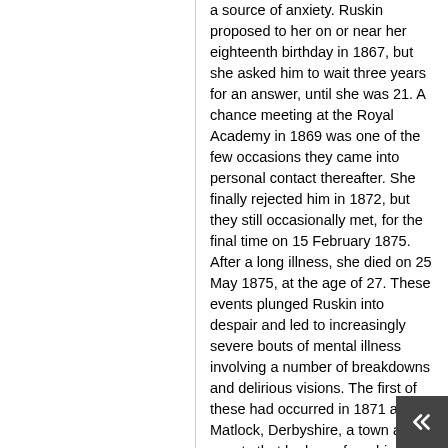a source of anxiety. Ruskin proposed to her on or near her eighteenth birthday in 1867, but she asked him to wait three years for an answer, until she was 21. A chance meeting at the Royal Academy in 1869 was one of the few occasions they came into personal contact thereafter. She finally rejected him in 1872, but they still occasionally met, for the final time on 15 February 1875. After a long illness, she died on 25 May 1875, at the age of 27. These events plunged Ruskin into despair and led to increasingly severe bouts of mental illness involving a number of breakdowns and delirious visions. The first of these had occurred in 1871 at Matlock, Derbyshire, a town and a county that he knew from his boyhood travels, whose flora, fauna, and minerals helped to form and reinforce his appreciation and understanding of nature. Ruskin turned to spiritualism and was by turns comforted and disturbed by what he believed was his ability to communicate with the dead Rose.
1877
In the July 1877 letter of Fors Clavigera, Ruskin launched a scathing attack on paintings by James